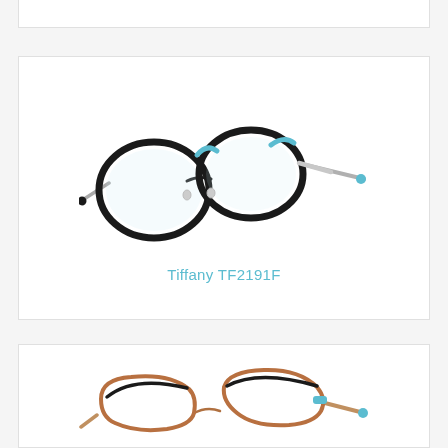[Figure (photo): Partial bottom edge of a product card showing eyeglasses, cropped at top of page]
[Figure (photo): Tiffany TF2191F eyeglasses — black cat-eye frames with teal/turquoise accents and silver metal temples, shown at a slight angle on white background]
Tiffany TF2191F
[Figure (photo): Partial view of rose-gold metal eyeglasses with black brow line and teal temple accents, cropped at bottom of page]